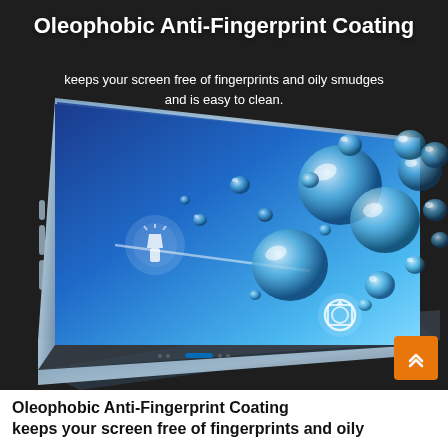[Figure (photo): Product marketing image showing a smartphone with oleophobic anti-fingerprint coating demonstration. The phone screen displays water droplets beading up on a blue gradient surface, illustrating the coating's water-repellent properties. The phone (appears to be an iPhone style) is shown at an angle on a dark background. White text overlaid on image reads the title and subtitle. An orange arrow button appears bottom-right.]
Oleophobic Anti-Fingerprint Coating
keeps your screen free of fingerprints and oily smudges and is easy to clean.
Oleophobic Anti-Fingerprint Coating keeps your screen free of fingerprints and oily